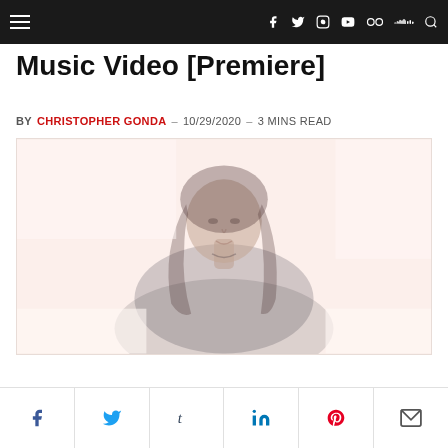Navigation bar with hamburger menu and social icons: Facebook, Twitter, Instagram, YouTube, Flickr, SoundCloud, Search
Music Video [Premiere]
BY CHRISTOPHER GONDA – 10/29/2020 – 3 MINS READ
[Figure (photo): A woman with long dark hair against a light/white background, faded washed-out photo style]
Share buttons: Facebook, Twitter, Tumblr, LinkedIn, Pinterest, Email